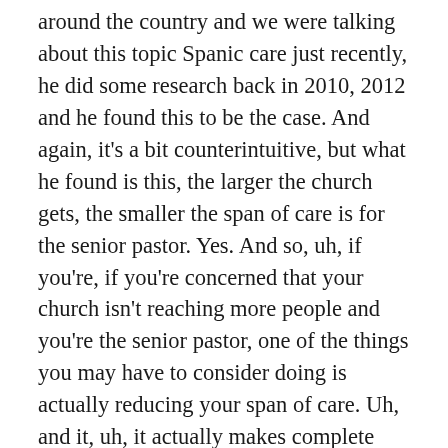around the country and we were talking about this topic Spanic care just recently, he did some research back in 2010, 2012 and he found this to be the case. And again, it's a bit counterintuitive, but what he found is this, the larger the church gets, the smaller the span of care is for the senior pastor. Yes. And so, uh, if you're, if you're concerned that your church isn't reaching more people and you're the senior pastor, one of the things you may have to consider doing is actually reducing your span of care. Uh, and it, uh, it actually makes complete sense if you unpack that because in fact, many times we see this amy, when we engage with small and mid size churches, the senior pastor is still trying to lead every single ministry programming pastor or director in the church and sometimes and mid size churches that can grow to as many as